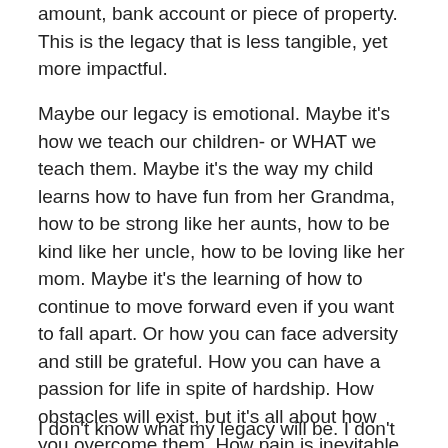amount, bank account or piece of property. This is the legacy that is less tangible, yet more impactful.
Maybe our legacy is emotional. Maybe it's how we teach our children- or WHAT we teach them. Maybe it's the way my child learns how to have fun from her Grandma, how to be strong like her aunts, how to be kind like her uncle, how to be loving like her mom. Maybe it's the learning of how to continue to move forward even if you want to fall apart. Or how you can face adversity and still be grateful. How you can have a passion for life in spite of hardship. How obstacles will exist, but it's all about how you overcome them. How pain is inevitable, but suffering is optional. How to remain hopeful. How to make their mark on the world, showing up authentically and living their best life. Maybe our legacy is tied more to life experience and life lessons than material stuff.
I don't know what my legacy will be. I don't know what, if